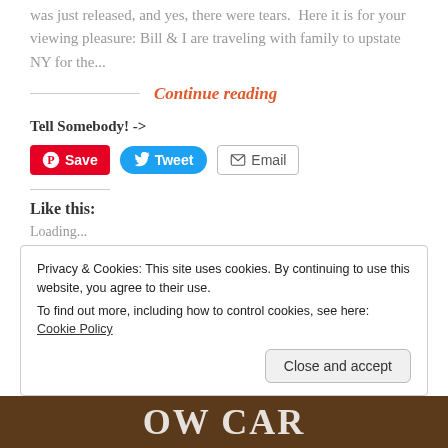was just released, and yes, there were tears.  Here it is for your viewing pleasure: Bill & I are traveling with family to upstate NY for the...
Continue reading
Tell Somebody! ->
Save
Tweet
Email
Like this:
Loading...
Privacy & Cookies: This site uses cookies. By continuing to use this website, you agree to their use.
To find out more, including how to control cookies, see here: Cookie Policy
Close and accept
[Figure (photo): Bottom strip showing partial text/image of a food-related publication, appears to say 'LOW CARB' or similar]